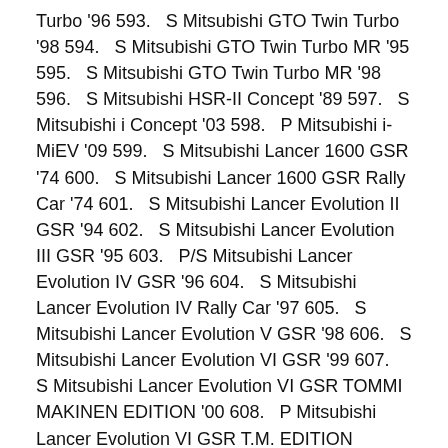Turbo '96 593.   S Mitsubishi GTO Twin Turbo '98 594.   S Mitsubishi GTO Twin Turbo MR '95 595.   S Mitsubishi GTO Twin Turbo MR '98 596.   S Mitsubishi HSR-II Concept '89 597.   S Mitsubishi i Concept '03 598.   P Mitsubishi i-MiEV '09 599.   S Mitsubishi Lancer 1600 GSR '74 600.   S Mitsubishi Lancer 1600 GSR Rally Car '74 601.   S Mitsubishi Lancer Evolution II GSR '94 602.   S Mitsubishi Lancer Evolution III GSR '95 603.   P/S Mitsubishi Lancer Evolution IV GSR '96 604.   S Mitsubishi Lancer Evolution IV Rally Car '97 605.   S Mitsubishi Lancer Evolution V GSR '98 606.   S Mitsubishi Lancer Evolution VI GSR '99 607.   S Mitsubishi Lancer Evolution VI GSR TOMMI MAKINEN EDITION '00 608.   P Mitsubishi Lancer Evolution VI GSR T.M. EDITION Special Color Package '99 609.   S Mitsubishi Lancer Evolution VI Rally Car '99 610.   S Mitsubishi Lancer Evolution VI RS '99 611.   S Mitsubishi Lancer Evolution VI RS TOMMI MAKINEN EDITION '00 612.   S Mitsubishi Lancer Evolution VII GSR '01 613.   S Mitsubishi Lancer Evolution VII GT-A '02 614.   S Mitsubishi Lancer Evolution VII RS '01 615.   S Mitsubishi Lancer Evolution VIII GSR '03 616.   S Mitsubishi Lancer Evolution VIII MR GSR '04 617.   S Mitsubishi